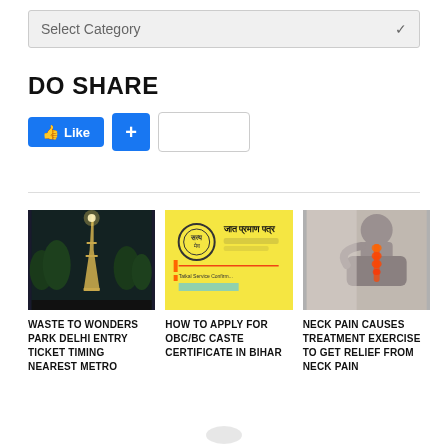Select Category
DO SHARE
[Figure (screenshot): Facebook Like button (blue), Google+ share button (blue plus), and share count box]
[Figure (photo): Eiffel Tower lit up at night against dark sky with trees]
WASTE TO WONDERS PARK DELHI ENTRY TICKET TIMING NEAREST METRO
[Figure (photo): Yellow OBC/BC caste certificate document with Hindi text and government seal]
HOW TO APPLY FOR OBC/BC CASTE CERTIFICATE IN BIHAR
[Figure (photo): Person holding neck in pain with glowing spine illustration]
NECK PAIN CAUSES TREATMENT EXERCISE TO GET RELIEF FROM NECK PAIN